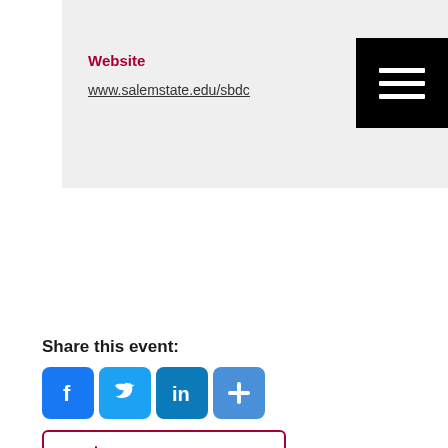Website
www.salemstate.edu/sbdc
Share this event:
[Figure (infographic): Social share icons: Facebook, Twitter, LinkedIn, and a plus/more button]
Add to calendar